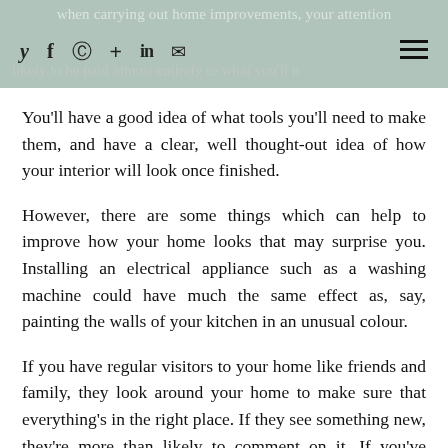when carrying out home improvements, your attention likely to be paid almost entirely to what you'll n
You'll have a good idea of what tools you'll need to make them, and have a clear, well thought-out idea of how your interior will look once finished.
However, there are some things which can help to improve how your home looks that may surprise you. Installing an electrical appliance such as a washing machine could have much the same effect as, say, painting the walls of your kitchen in an unusual colour.
If you have regular visitors to your home like friends and family, they look around your home to make sure that everything's in the right place. If they see something new, they're more than likely to comment on it. If you've recently bought a dishwasher and they see it, they'll notice that it's new and ask where you bought it.